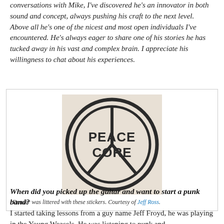conversations with Mike, I've discovered he's an innovator in both sound and concept, always pushing his craft to the next level. Above all he's one of the nicest and most open individuals I've encountered. He's always eager to share one of his stories he has tucked away in his vast and complex brain. I appreciate his willingness to chat about his experiences.
[Figure (illustration): Peace Core circular logo/sticker with a peace sign incorporating the text PEACE CORE in bold block letters, on a light beige/cream square background.]
Denver was littered with these stickers. Courtesy of Jeff Ross.
When did you picked up the guitar and want to start a punk band?
I started taking lessons from a guy name Jeff Froyd, he was playing in the Young Weasels. He was listening to punk and